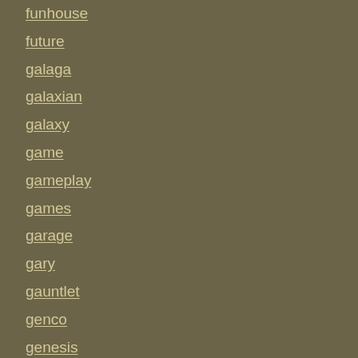funhouse
future
galaga
galaxian
galaxy
game
gameplay
games
garage
gary
gauntlet
genco
genesis
genie
gently
getaway